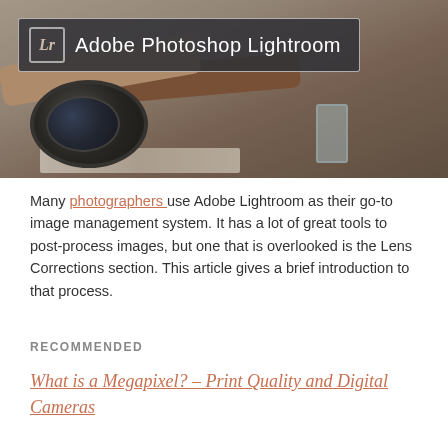[Figure (photo): Adobe Photoshop Lightroom logo banner overlaid on a photo of photographers examining photos on a table with a camera lens in the foreground]
Many photographers use Adobe Lightroom as their go-to image management system. It has a lot of great tools to post-process images, but one that is overlooked is the Lens Corrections section. This article gives a brief introduction to that process.
RECOMMENDED
What is a Megapixel? – Print Quality and Digital Cameras